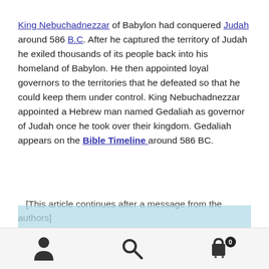King Nebuchadnezzar of Babylon had conquered Judah around 586 B.C. After he captured the territory of Judah he exiled thousands of its people back into his homeland of Babylon. He then appointed loyal governors to the territories that he defeated so that he could keep them under control. King Nebuchadnezzar appointed a Hebrew man named Gedaliah as governor of Judah once he took over their kingdom. Gedaliah appears on the Bible Timeline around 586 BC.
[This article continues after a message from the authors]